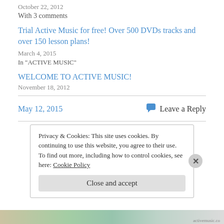October 22, 2012
With 3 comments
Trial Active Music for free! Over 500 DVDs tracks and over 150 lesson plans!
March 4, 2015
In "ACTIVE MUSIC"
WELCOME TO ACTIVE MUSIC!
November 18, 2012
May 12, 2015
Leave a Reply
Privacy & Cookies: This site uses cookies. By continuing to use this website, you agree to their use.
To find out more, including how to control cookies, see here: Cookie Policy
Close and accept